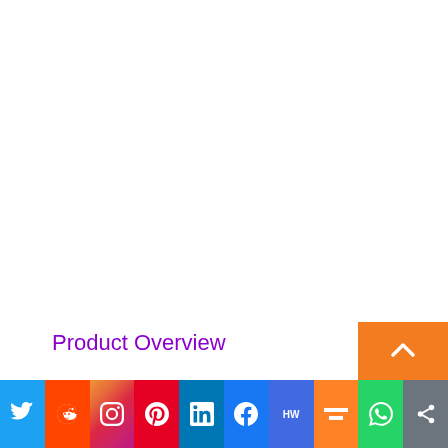Product Overview
[Figure (infographic): Social media sharing bar at the bottom with icons for Twitter, Reddit, Instagram, Pinterest, LinkedIn, Facebook, HW, Mix, WhatsApp, and a share button; plus an orange scroll-to-top arrow button above the bar.]